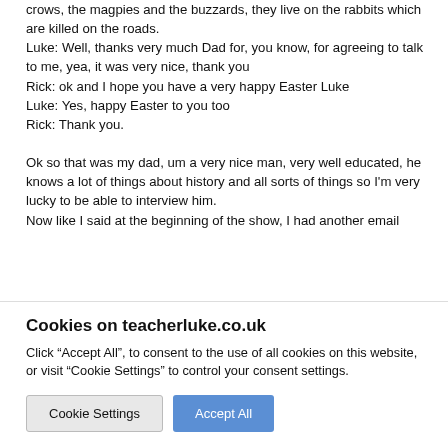crows, the magpies and the buzzards, they live on the rabbits which are killed on the roads.
Luke: Well, thanks very much Dad for, you know, for agreeing to talk to me, yea, it was very nice, thank you
Rick: ok and I hope you have a very happy Easter Luke
Luke: Yes, happy Easter to you too
Rick: Thank you.

Ok so that was my dad, um a very nice man, very well educated, he knows a lot of things about history and all sorts of things so I'm very lucky to be able to interview him.
Now like I said at the beginning of the show, I had another email
Cookies on teacherluke.co.uk
Click “Accept All”, to consent to the use of all cookies on this website, or visit “Cookie Settings” to control your consent settings.